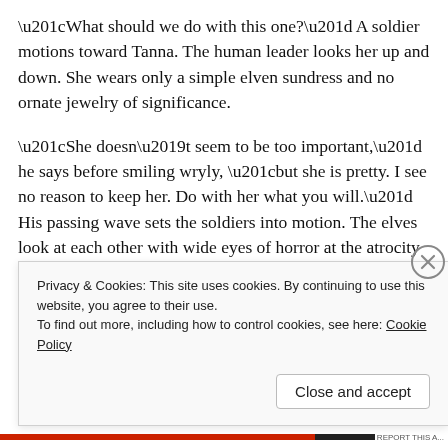“What should we do with this one?” A soldier motions toward Tanna. The human leader looks her up and down. She wears only a simple elven sundress and no ornate jewelry of significance.
“She doesn’t seem to be too important,” he says before smiling wryly, “but she is pretty. I see no reason to keep her. Do with her what you will.” His passing wave sets the soldiers into motion. The elves look at each other with wide eyes of horror at the atrocity of his statement. The soldiers turn in on her, all with glee in their eyes, as one steps to the front and turns to face them.
Privacy & Cookies: This site uses cookies. By continuing to use this website, you agree to their use. To find out more, including how to control cookies, see here: Cookie Policy
Close and accept